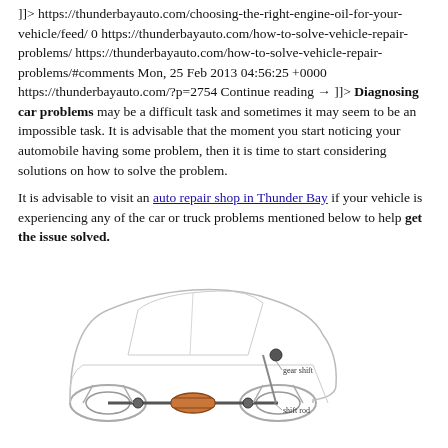]]> https://thunderbayauto.com/choosing-the-right-engine-oil-for-your-vehicle/feed/ 0 https://thunderbayauto.com/how-to-solve-vehicle-repair-problems/ https://thunderbayauto.com/how-to-solve-vehicle-repair-problems/#comments Mon, 25 Feb 2013 04:56:25 +0000 https://thunderbayauto.com/?p=2754 Continue reading → ]]> Diagnosing car problems may be a difficult task and sometimes it may seem to be an impossible task. It is advisable that the moment you start noticing your automobile having some problem, then it is time to start considering solutions on how to solve the problem.
It is advisable to visit an auto repair shop in Thunder Bay if your vehicle is experiencing any of the car or truck problems mentioned below to help get the issue solved.
[Figure (illustration): Illustration of a car with a transparent/cutaway view showing the drivetrain, differential, gear shift, and shift rod components labeled at the bottom.]